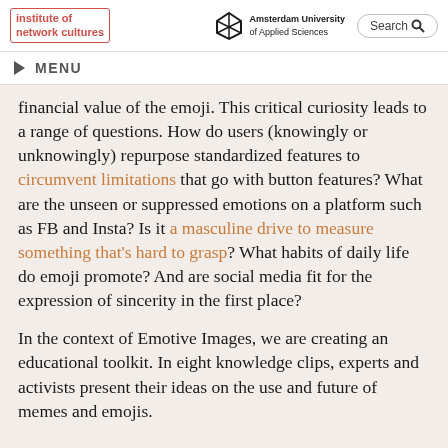institute of network cultures | Amsterdam University of Applied Sciences | Search
MENU
financial value of the emoji. This critical curiosity leads to a range of questions. How do users (knowingly or unknowingly) repurpose standardized features to circumvent limitations that go with button features? What are the unseen or suppressed emotions on a platform such as FB and Insta? Is it a masculine drive to measure something that’s hard to grasp? What habits of daily life do emoji promote? And are social media fit for the expression of sincerity in the first place?
In the context of Emotive Images, we are creating an educational toolkit. In eight knowledge clips, experts and activists present their ideas on the use and future of memes and emojis.